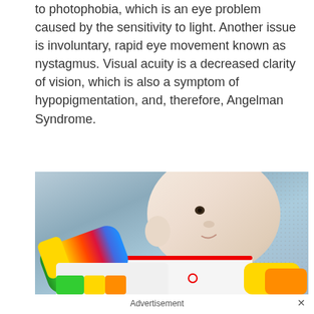to photophobia, which is an eye problem caused by the sensitivity to light. Another issue is involuntary, rapid eye movement known as nystagmus. Visual acuity is a decreased clarity of vision, which is also a symptom of hypopigmentation, and, therefore, Angelman Syndrome.
[Figure (photo): Photo of a baby with fair/light skin lying on a textured blanket, wearing a colorful rainbow-striped onesie, looking upward with one arm raised.]
Advertisement